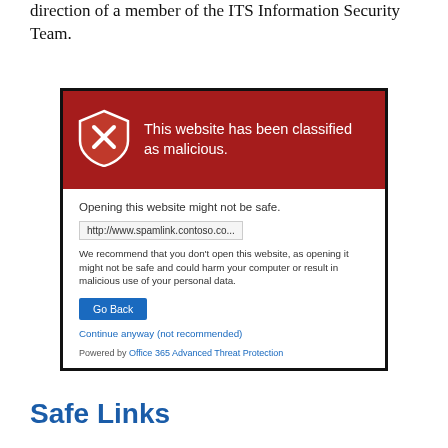direction of a member of the ITS Information Security Team.
[Figure (screenshot): A browser warning screenshot showing a red header with shield icon and text 'This website has been classified as malicious.' Below is a white section with text 'Opening this website might not be safe.', a URL bar showing 'http://www.spamlink.contoso.co...', a warning paragraph, a blue 'Go Back' button, a 'Continue anyway (not recommended)' link, and 'Powered by Office 365 Advanced Threat Protection'.]
Safe Links